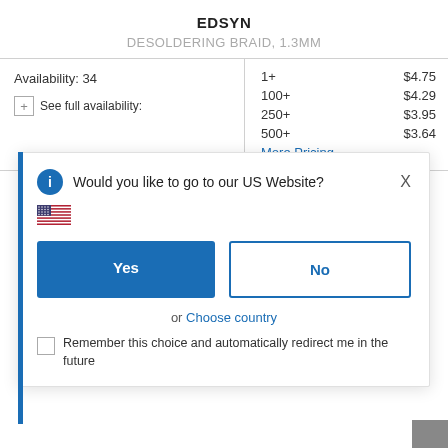EDSYN
DESOLDERING BRAID, 1.3MM
| Availability | Qty | Price |
| --- | --- | --- |
| Availability: 34 | 1+ | $4.75 |
| See full availability: | 100+ | $4.29 |
|  | 250+ | $3.95 |
|  | 500+ | $3.64 |
|  | More Pricing... |  |
Would you like to go to our US Website?
[Figure (illustration): US flag icon]
Yes
No
or Choose country
Remember this choice and automatically redirect me in the future